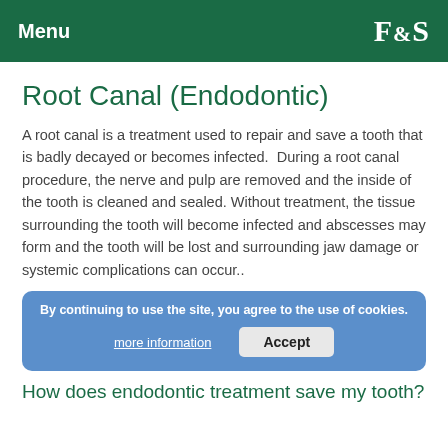Menu   F&S
Root Canal (Endodontic)
A root canal is a treatment used to repair and save a tooth that is badly decayed or becomes infected.  During a root canal procedure, the nerve and pulp are removed and the inside of the tooth is cleaned and sealed. Without treatment, the tissue surrounding the tooth will become infected and abscesses may form and the tooth will be lost and surrounding jaw damage or systemic complications can occur..
By continuing to use the site, you agree to the use of cookies.
more information   Accept
How does endodontic treatment save my tooth?